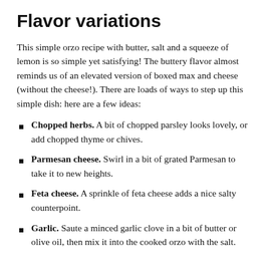Flavor variations
This simple orzo recipe with butter, salt and a squeeze of lemon is so simple yet satisfying! The buttery flavor almost reminds us of an elevated version of boxed max and cheese (without the cheese!). There are loads of ways to step up this simple dish: here are a few ideas:
Chopped herbs. A bit of chopped parsley looks lovely, or add chopped thyme or chives.
Parmesan cheese. Swirl in a bit of grated Parmesan to take it to new heights.
Feta cheese. A sprinkle of feta cheese adds a nice salty counterpoint.
Garlic. Saute a minced garlic clove in a bit of butter or olive oil, then mix it into the cooked orzo with the salt.